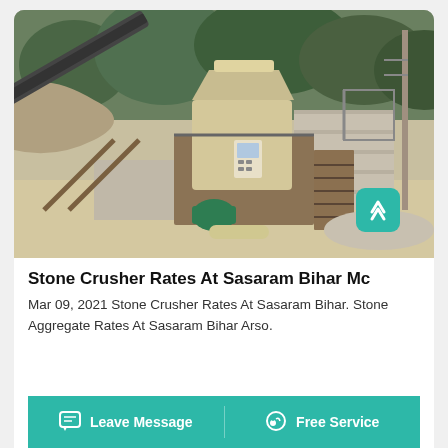[Figure (photo): Outdoor stone crusher / aggregate processing machine at a quarry site. Heavy industrial machinery with conveyors, metal frame, green motor at bottom, control panel, and stairs. Rocky hill and trees in background.]
Stone Crusher Rates At Sasaram Bihar Mc
Mar 09, 2021 Stone Crusher Rates At Sasaram Bihar. Stone Aggregate Rates At Sasaram Bihar Arso.
Leave Message   Free Service